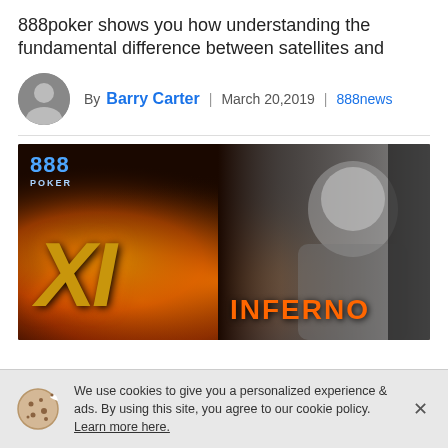888poker shows you how understanding the fundamental difference between satellites and
By Barry Carter | March 20,2019 | 888news
[Figure (photo): 888poker XL Inferno promotional image with fire graphics and a smiling man in black and white on the right side]
We use cookies to give you a personalized experience & ads. By using this site, you agree to our cookie policy. Learn more here.